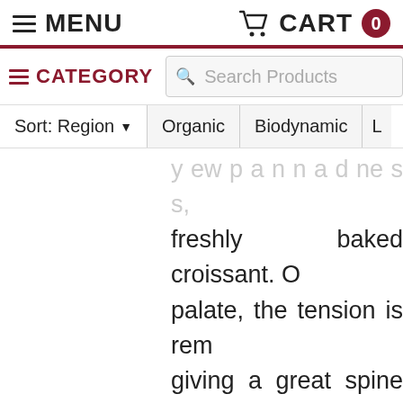MENU  CART 0
CATEGORY  Search Products
Sort: Region  Organic  Biodynamic  L
freshly baked croissant. On the palate, the tension is remarkable, giving a great spine balance, the flesh brought by the lees. There is a certain opulence, but rig... straightened by the acidity. It's saltier, with notes of Tahitian